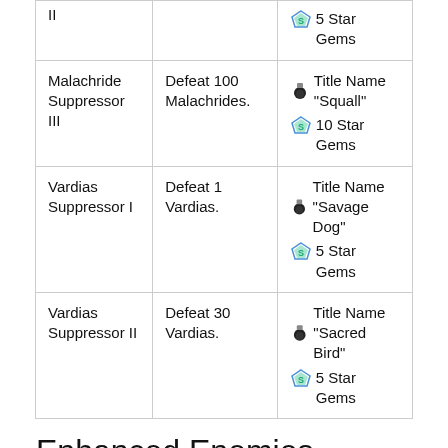|  |  |  |
| --- | --- | --- |
| Malachride Suppressor II | Defeat 100 Malachrides. | 5 Star Gems |
| Malachride Suppressor III | Defeat 100 Malachrides. | Title Name "Squall"
10 Star Gems |
| Vardias Suppressor I | Defeat 1 Vardias. | Title Name "Savage Dog"
5 Star Gems |
| Vardias Suppressor II | Defeat 30 Vardias. | Title Name "Sacred Bird"
5 Star Gems |
Enhanced Enemies
| Title | Requirements | Reward |
| --- | --- | --- |